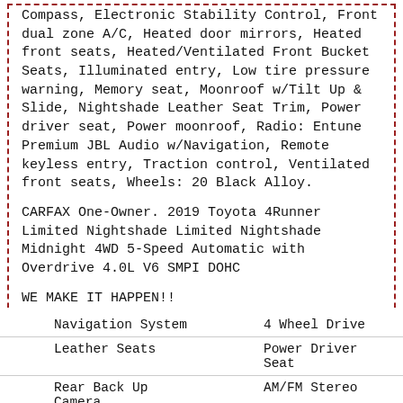Compass, Electronic Stability Control, Front dual zone A/C, Heated door mirrors, Heated front seats, Heated/Ventilated Front Bucket Seats, Illuminated entry, Low tire pressure warning, Memory seat, Moonroof w/Tilt Up & Slide, Nightshade Leather Seat Trim, Power driver seat, Power moonroof, Radio: Entune Premium JBL Audio w/Navigation, Remote keyless entry, Traction control, Ventilated front seats, Wheels: 20 Black Alloy.
CARFAX One-Owner. 2019 Toyota 4Runner Limited Nightshade Limited Nightshade Midnight 4WD 5-Speed Automatic with Overdrive 4.0L V6 SMPI DOHC
WE MAKE IT HAPPEN!!
Awards:
* 2019 KBB.com Best Resale Value Awards * 2019 KBB.com Brand Image Awards
| Feature | Feature2 |
| --- | --- |
| Navigation System | 4 Wheel Drive |
| Leather Seats | Power Driver Seat |
| Rear Back Up Camera | AM/FM Stereo |